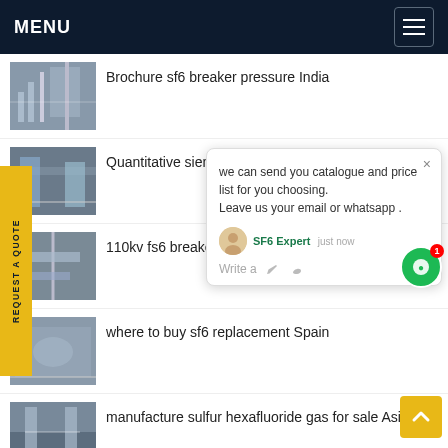MENU
Brochure sf6 breaker pressure India
Quantitative siemens 14 circuit breaker North Korea
110kv fs6 breaker Green
where to buy sf6 replacement Spain
manufacture sulfur hexafluoride gas for sale Asia
develop sf6 wika Turkey